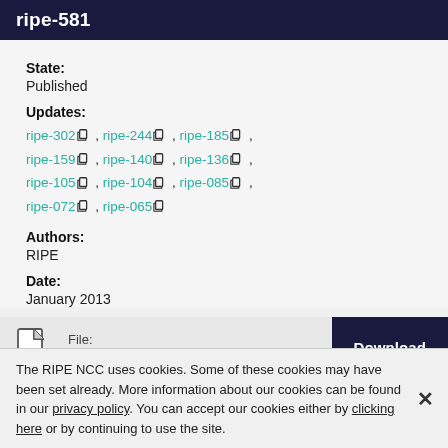ripe-581
State:
Published
Updates:
ripe-302, ripe-244, ripe-185, ripe-159, ripe-140, ripe-136, ripe-105, ripe-104, ripe-085, ripe-072, ripe-065
Authors:
RIPE
Date:
January 2013
File: PDF | 83.0KB  [Download]
The RIPE NCC uses cookies. Some of these cookies may have been set already. More information about our cookies can be found in our privacy policy. You can accept our cookies either by clicking here or by continuing to use the site.